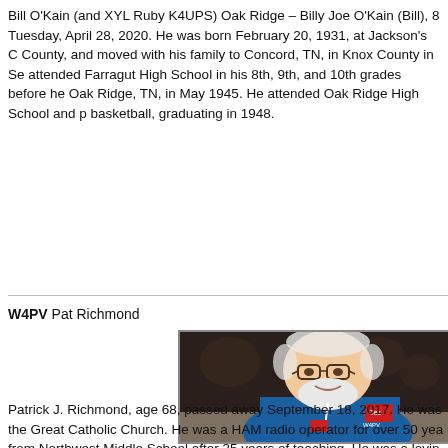Bill O'Kain (and XYL Ruby K4UPS) Oak Ridge – Billy Joe O'Kain (Bill), 8 Tuesday, April 28, 2020. He was born February 20, 1931, at Jackson's C County, and moved with his family to Concord, TN, in Knox County in Se attended Farragut High School in his 8th, 9th, and 10th grades before he Oak Ridge, TN, in May 1945. He attended Oak Ridge High School and p basketball, graduating in 1948.
W4PV Pat Richmond
[Figure (photo): Photo of Pat Richmond (W4PV), an elderly man with white beard and glasses, wearing a blue polo shirt with a Technicon logo, seated at what appears to be an event or conference.]
Patrick J. Richmond, age 68, passed away September 18, 2017. He was the Great Catholic Church. He was a HAM radio operator for over 50 yea from Northwest Middle School after 35 years of teaching. He was a lovin